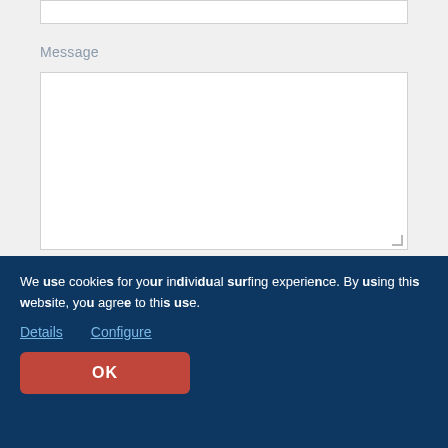Message
TRAVEL PERIOD/STAY
Arrival
03.09.2022
We use cookies for your individual surfing experience. By using this website, you agree to this use.
Details
Configure
OK